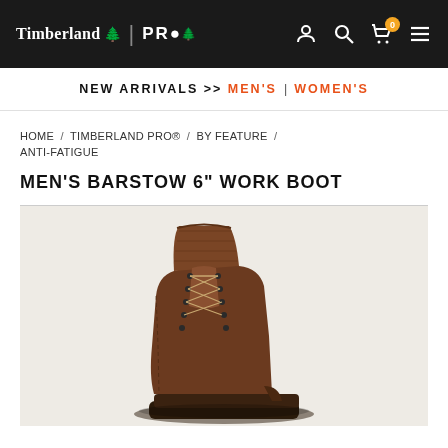Timberland PRO® | Navigation bar with account, search, cart, and menu icons
NEW ARRIVALS >> MEN'S | WOMEN'S
HOME / TIMBERLAND PRO® / BY FEATURE / ANTI-FATIGUE
MEN'S BARSTOW 6" WORK BOOT
[Figure (photo): Product photo of Men's Barstow 6 inch Work Boot in brown leather, shown on a light beige/grey background. The boot is a lace-up style with visible eyelets and stitching detail.]